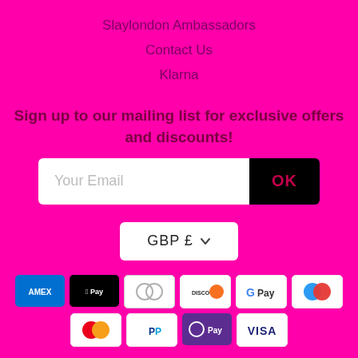Slaylondon Ambassadors
Contact Us
Klarna
Sign up to our mailing list for exclusive offers and discounts!
[Figure (other): Email signup form with white input field labeled 'Your Email' and a black OK button]
[Figure (other): Currency selector dropdown showing 'GBP £']
[Figure (other): Payment method icons: AMEX, Apple Pay, Diners, Discover, Google Pay, Maestro, Mastercard, PayPal, OPay, Visa]